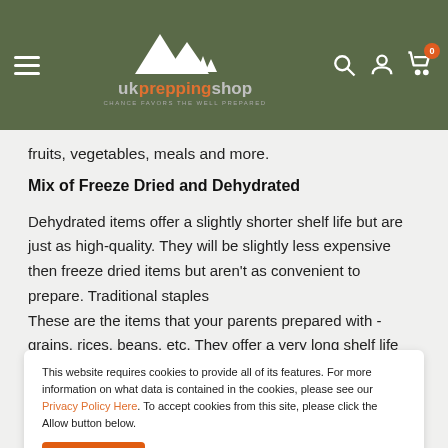ukpreppingshop — CHANCE FAVORS THE WELL PREPARED
fruits, vegetables, meals and more.
Mix of Freeze Dried and Dehydrated
Dehydrated items offer a slightly shorter shelf life but are just as high-quality. They will be slightly less expensive then freeze dried items but aren't as convenient to prepare. Traditional staples
These are the items that your parents prepared with - grains, rices, beans, etc. They offer a very long shelf life but are more intensive to prepare. You'll typically need a grain mill for supplies like this.
This website requires cookies to provide all of its features. For more information on what data is contained in the cookies, please see our Privacy Policy Here. To accept cookies from this site, please click the Allow button below.
have a wide variety of meal options but only have a guaranteed 5-year